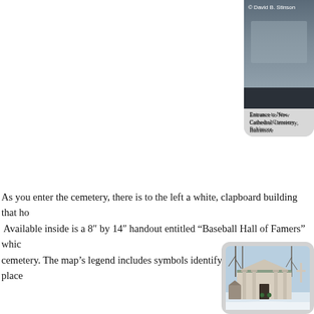[Figure (photo): Top portion of a photo card showing entrance to New Cathedral Cemetery Baltimore, with copyright notice by David B. Stinson]
Entrance to New Cathedral Cemetery, Baltimore
As you enter the cemetery, there is to the left a white, clapboard building that ho... Available inside is a 8″ by 14″ handout entitled “Baseball Hall of Famers” whic... cemetery. The map’s legend includes symbols identifying the final resting place
[Figure (photo): A mausoleum building in a snowy cemetery with columns and green roof, stone cross visible to the right]